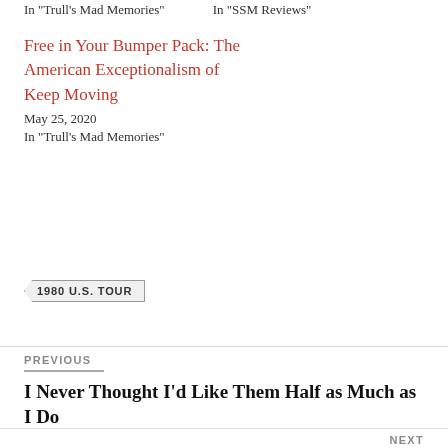In "Trull's Mad Memories"
In "SSM Reviews"
Free in Your Bumper Pack: The American Exceptionalism of Keep Moving
May 25, 2020
In "Trull's Mad Memories"
1980 U.S. TOUR
PREVIOUS
I Never Thought I'd Like Them Half as Much as I Do
NEXT